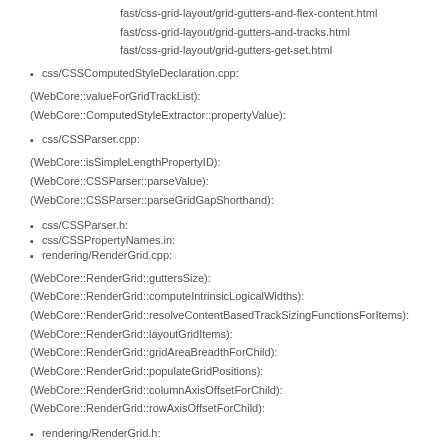fast/css-grid-layout/grid-gutters-and-flex-content.html
fast/css-grid-layout/grid-gutters-and-tracks.html
fast/css-grid-layout/grid-gutters-get-set.html
css/CSSComputedStyleDeclaration.cpp:
(WebCore::valueForGridTrackList):
(WebCore::ComputedStyleExtractor::propertyValue):
css/CSSParser.cpp:
(WebCore::isSimpleLengthPropertyID):
(WebCore::CSSParser::parseValue):
(WebCore::CSSParser::parseGridGapShorthand):
css/CSSParser.h:
css/CSSPropertyNames.in:
rendering/RenderGrid.cpp:
(WebCore::RenderGrid::guttersSize):
(WebCore::RenderGrid::computeIntrinsicLogicalWidths):
(WebCore::RenderGrid::resolveContentBasedTrackSizingFunctionsForItems):
(WebCore::RenderGrid::layoutGridItems):
(WebCore::RenderGrid::gridAreaBreadthForChild):
(WebCore::RenderGrid::populateGridPositions):
(WebCore::RenderGrid::columnAxisOffsetForChild):
(WebCore::RenderGrid::rowAxisOffsetForChild):
rendering/RenderGrid.h: